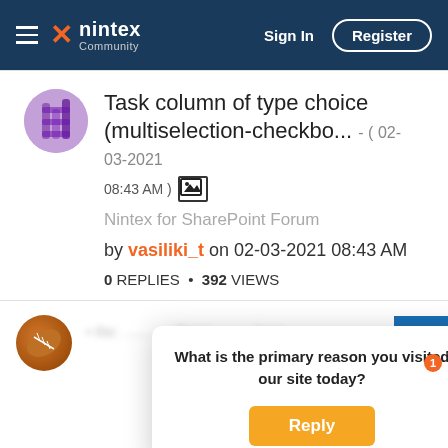Nintex Community — Sign In | Register
Task column of type choice (multiselection-checkbo... - ( 02-03-2021 08:43 AM )
Nintex for SharePoint Forum
by vasiliki_t on 02-03-2021 08:43 AM
0 REPLIES • 392 VIEWS
What is the primary reason you visited our site today?
Reply